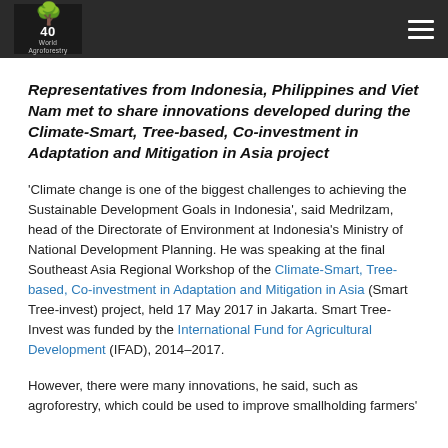World Agroforestry
Representatives from Indonesia, Philippines and Viet Nam met to share innovations developed during the Climate-Smart, Tree-based, Co-investment in Adaptation and Mitigation in Asia project
'Climate change is one of the biggest challenges to achieving the Sustainable Development Goals in Indonesia', said Medrilzam, head of the Directorate of Environment at Indonesia's Ministry of National Development Planning. He was speaking at the final Southeast Asia Regional Workshop of the Climate-Smart, Tree-based, Co-investment in Adaptation and Mitigation in Asia (Smart Tree-invest) project, held 17 May 2017 in Jakarta. Smart Tree-Invest was funded by the International Fund for Agricultural Development (IFAD), 2014–2017.
However, there were many innovations, he said, such as agroforestry, which could be used to improve smallholding farmers'